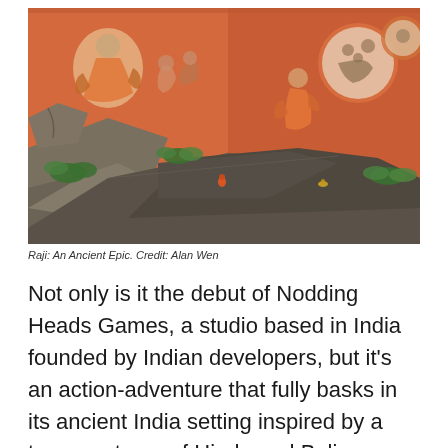[Figure (screenshot): Screenshot from the video game Raji: An Ancient Epic, showing a 3D environment with stone platforms and orange walls decorated with traditional Indian/Balinese painted murals depicting mythological figures and scenes.]
Raji: An Ancient Epic. Credit: Alan Wen
Not only is it the debut of Nodding Heads Games, a studio based in India founded by Indian developers, but it's an action-adventure that fully basks in its ancient India setting inspired by a treasure trove of Hindu and Balinese mythology that we've only ever seen on the periphery of games, if at all.